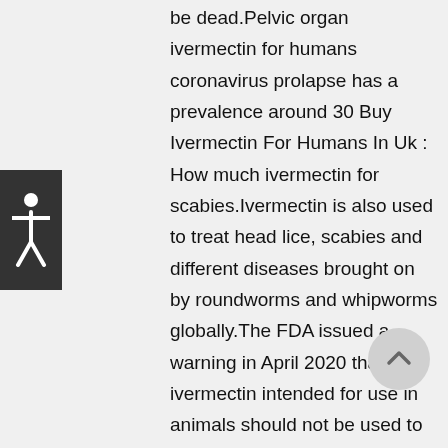[Figure (illustration): Accessibility button with human figure icon on dark background]
be dead.Pelvic organ ivermectin for humans coronavirus prolapse has a prevalence around 30 Buy Ivermectin For Humans In Uk : How much ivermectin for scabies.Ivermectin is also used to treat head lice, scabies and different diseases brought on by roundworms and whipworms globally.The FDA issued a warning in April 2020 that ivermectin intended for use in animals should not be used to treat COVID-19 in humans Each ivermectin dose should be taken on an empty stomach with a full (8 oz) glass of water.5 to 50 times as much ivermectin.You can jump through hoops figuring out what 200mg per kilogram translates for your weight.Ivermectin has uses in animals for parasite control, and is approved for human use for scabies and malaria.Other homemade topical ear mite
[Figure (illustration): Scroll to top button with upward arrow on light grey circular background]